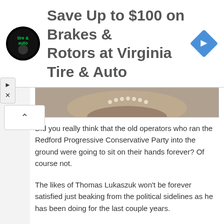[Figure (other): Advertisement banner: Virginia Tire & Auto logo, text 'Save Up to $100 on Brakes & Rotors at Virginia Tire & Auto', blue diamond navigation icon]
[Figure (photo): Partial image of a person wearing a light knit sweater and pearl necklace, cropped at neck/shoulders]
Did you really think that the old operators who ran the Redford Progressive Conservative Party into the ground were going to sit on their hands forever? Of course not.
The likes of Thomas Lukaszuk won't be forever satisfied just beaking from the political sidelines as he has been doing for the last couple years.
[Figure (photo): Photo of a man (Thomas Lukaszuk) in a dark blazer holding a phone, seated in front of a 'credo' coffee shop sign, urban background with trees and buildings]